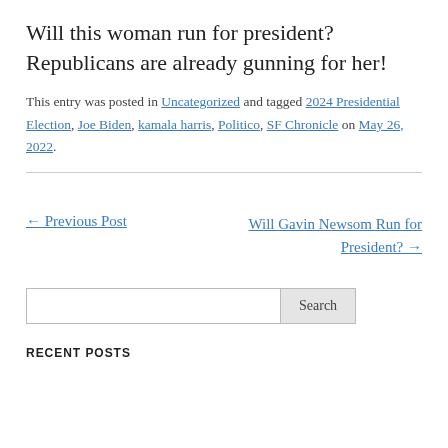Will this woman run for president? Republicans are already gunning for her!
This entry was posted in Uncategorized and tagged 2024 Presidential Election, Joe Biden, kamala harris, Politico, SF Chronicle on May 26, 2022.
← Previous Post
Will Gavin Newsom Run for President? →
Search
RECENT POSTS